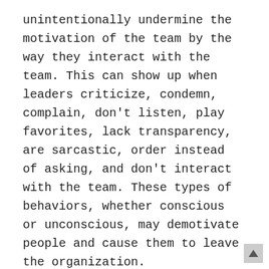unintentionally undermine the motivation of the team by the way they interact with the team. This can show up when leaders criticize, condemn, complain, don't listen, play favorites, lack transparency, are sarcastic, order instead of asking, and don't interact with the team. These types of behaviors, whether conscious or unconscious, may demotivate people and cause them to leave the organization.
Organizations that are serious about the motivation and retention of their people may want to use an assessment tool, such as a 360 assessment, to see how leaders are perceived by their team, colleagues, and immediate manager. These 360 assessments can hurt the ego, as it reveals blind spots. Leaders that have a perception that is not in alignment with how